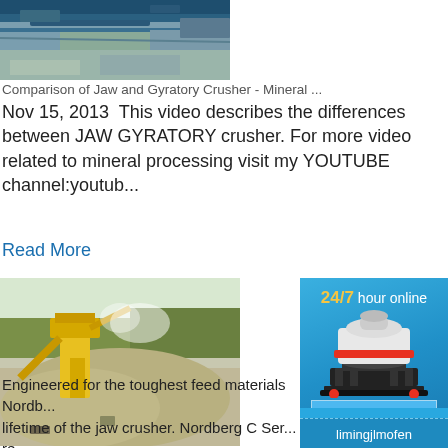[Figure (photo): Industrial crusher/mining equipment photograph from above showing blue machinery and conveyor]
Comparison of Jaw and Gyratory Crusher - Mineral ...
Nov 15, 2013  This video describes the differences between JAW GYRATORY crusher. For more video related to mineral processing visit my YOUTUBE channel:youtub...
Read More
[Figure (photo): Outdoor mining/crushing plant with large yellow jaw crusher and pile of crushed stone material]
[Figure (infographic): 24/7 hour online sidebar widget with cone crusher image and Click me to chat>> button]
Engineered for the toughest feed materials Nordb... lifetime of the jaw crusher. Nordberg C Ser... re modular for quick, easy installation and con... w plants and when replacing old jaw crushers... on-site engineering and fabrication, saves time... installation and structural costs. The integra... reduces space requirements and
Enquiry
limingjlmofen